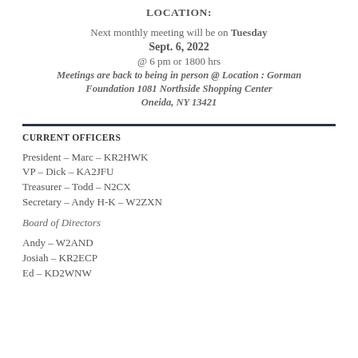LOCATION:
Next monthly meeting will be on Tuesday
Sept. 6, 2022
@ 6 pm or 1800 hrs
Meetings are back to being in person @ Location : Gorman Foundation 1081 Northside Shopping Center Oneida, NY 13421
CURRENT OFFICERS
President – Marc – KR2HWK
VP – Dick – KA2JFU
Treasurer – Todd – N2CX
Secretary – Andy H-K – W2ZXN
Board of Directors
Andy – W2AND
Josiah – KR2ECP
Ed – KD2WNW